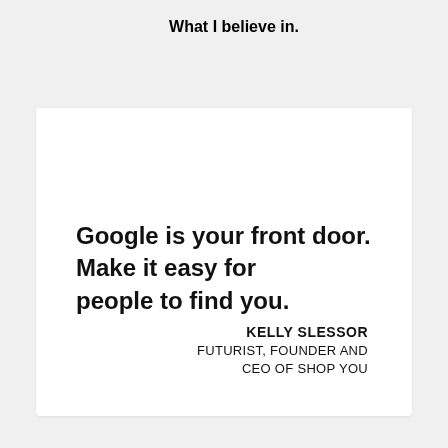What I believe in.
Google is your front door. Make it easy for people to find you.
KELLY SLESSOR
FUTURIST, FOUNDER AND CEO OF SHOP YOU